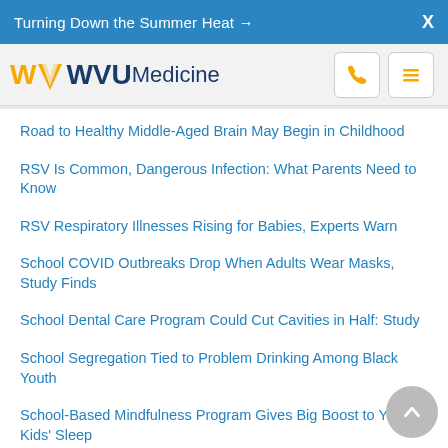Turning Down the Summer Heat →  X
[Figure (logo): WVU Medicine logo with phone and menu icons]
Road to Healthy Middle-Aged Brain May Begin in Childhood
RSV Is Common, Dangerous Infection: What Parents Need to Know
RSV Respiratory Illnesses Rising for Babies, Experts Warn
School COVID Outbreaks Drop When Adults Wear Masks, Study Finds
School Dental Care Program Could Cut Cavities in Half: Study
School Segregation Tied to Problem Drinking Among Black Youth
School-Based Mindfulness Program Gives Big Boost to Young Kids' Sleep
Schools Can Reopen Safely If Precautions in Place, Australian Study Shows